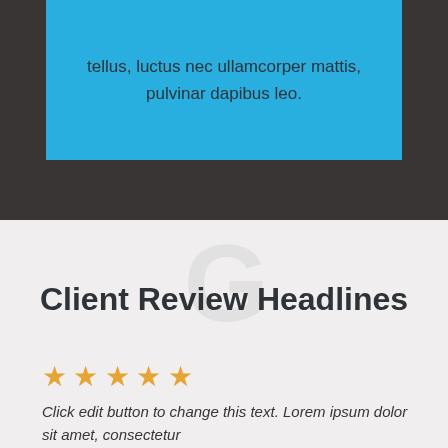tellus, luctus nec ullamcorper mattis, pulvinar dapibus leo.
Client Review Headlines
★★★★★
Click edit button to change this text. Lorem ipsum dolor sit amet, consectetur